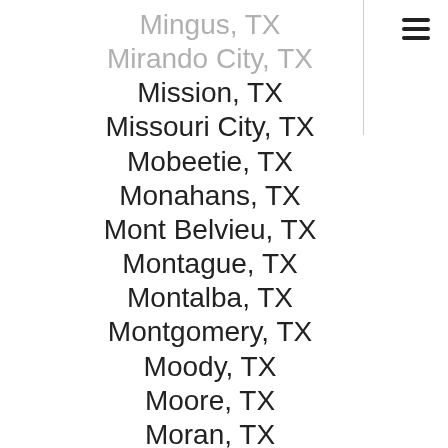Mingus, TX
Mirando City, TX
Mission, TX
Missouri City, TX
Mobeetie, TX
Monahans, TX
Mont Belvieu, TX
Montague, TX
Montalba, TX
Montgomery, TX
Moody, TX
Moore, TX
Moran, TX
Morgan Mill, TX
Morgan, TX
Morse, TX